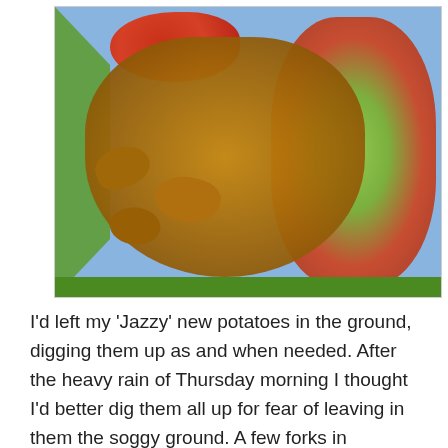[Figure (photo): A blue plastic crate or tray filled with freshly dug 'Jazzy' new potatoes, red cherry tomatoes at the top left, and a variety of apples (green and red) on the right side, sitting on green grass.]
I'd left my 'Jazzy' new potatoes in the ground, digging them up as and when needed. After the heavy rain of Thursday morning I thought I'd better dig them all up for fear of leaving in them the soggy ground. A few forks in revealed that the surface was nicely damp but down below things were still pretty dry. I did dig them all up, collected a few windfalls and picked the outside San